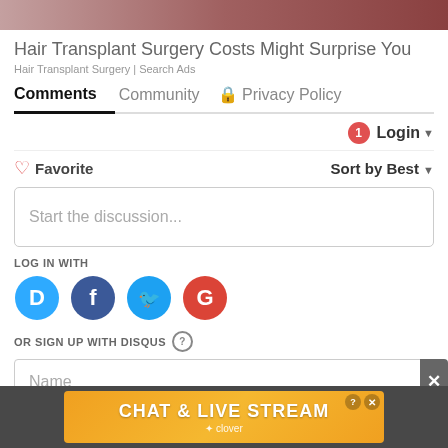[Figure (photo): Partial top image visible at the top of the page]
Hair Transplant Surgery Costs Might Surprise You
Hair Transplant Surgery | Search Ads
Comments  Community  Privacy Policy
Login
Favorite  Sort by Best
Start the discussion...
LOG IN WITH
[Figure (infographic): Social login icons: Disqus (blue D), Facebook (dark blue F), Twitter (light blue bird), Google (red G)]
OR SIGN UP WITH DISQUS ?
Name
[Figure (infographic): Bottom advertisement banner: CHAT & LIVE STREAM by clover, orange background with beach photo]